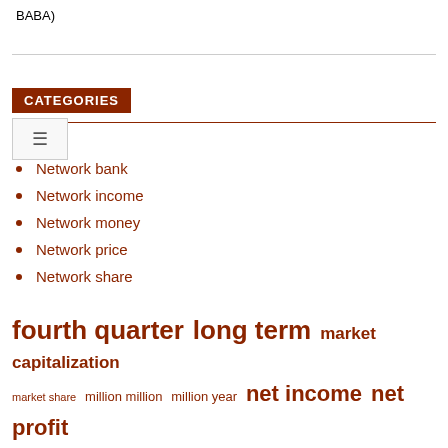BABA)
CATEGORIES
Network bank
Network income
Network money
Network price
Network share
[Figure (infographic): Tag cloud with finance-related terms in various sizes: fourth quarter, long term, market capitalization, market share, million million, million year, net income, net profit, network price, press release, short term, supply chain, time high, united states, year earlier]